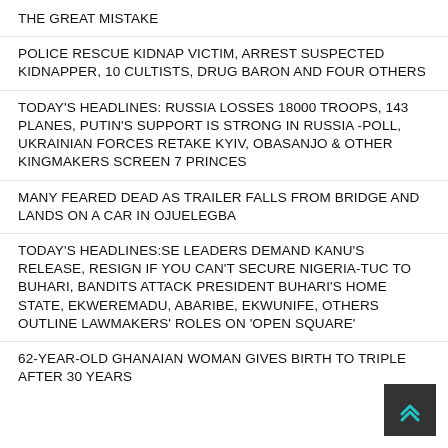THE GREAT MISTAKE
POLICE RESCUE KIDNAP VICTIM, ARREST SUSPECTED KIDNAPPER, 10 CULTISTS, DRUG BARON AND FOUR OTHERS
TODAY'S HEADLINES: RUSSIA LOSSES 18000 TROOPS, 143 PLANES, PUTIN'S SUPPORT IS STRONG IN RUSSIA -POLL, UKRAINIAN FORCES RETAKE KYIV, OBASANJO & OTHER KINGMAKERS SCREEN 7 PRINCES
MANY FEARED DEAD AS TRAILER FALLS FROM BRIDGE AND LANDS ON A CAR IN OJUELEGBA
TODAY'S HEADLINES:SE LEADERS DEMAND KANU'S RELEASE, RESIGN IF YOU CAN'T SECURE NIGERIA-TUC TO BUHARI, BANDITS ATTACK PRESIDENT BUHARI'S HOME STATE, EKWEREMADU, ABARIBE, EKWUNIFE, OTHERS OUTLINE LAWMAKERS' ROLES ON 'OPEN SQUARE'
62-YEAR-OLD GHANAIAN WOMAN GIVES BIRTH TO TRIPLETS AFTER 30 YEARS